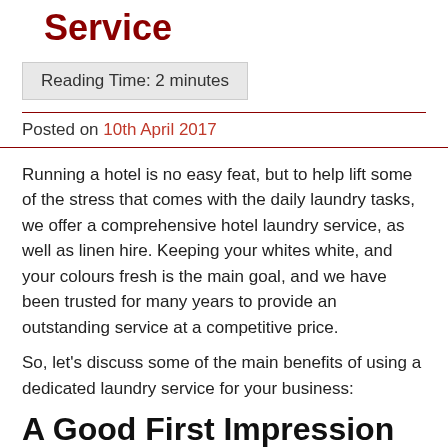Service
Reading Time: 2 minutes
Posted on 10th April 2017
Running a hotel is no easy feat, but to help lift some of the stress that comes with the daily laundry tasks, we offer a comprehensive hotel laundry service, as well as linen hire. Keeping your whites white, and your colours fresh is the main goal, and we have been trusted for many years to provide an outstanding service at a competitive price.
So, let's discuss some of the main benefits of using a dedicated laundry service for your business:
A Good First Impression